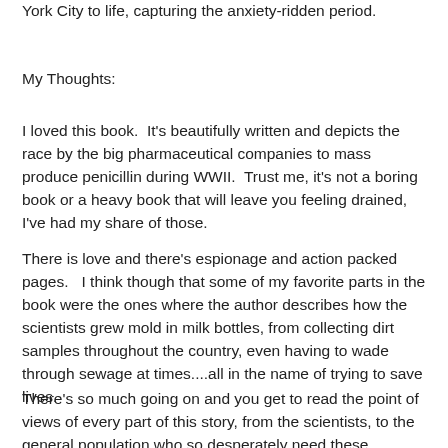York City to life, capturing the anxiety-ridden period.
My Thoughts:
I loved this book.  It's beautifully written and depicts the race by the big pharmaceutical companies to mass produce penicillin during WWII.  Trust me, it's not a boring book or a heavy book that will leave you feeling drained, I've had my share of those.
There is love and there's espionage and action packed pages.   I think though that some of my favorite parts in the book were the ones where the author describes how the scientists grew mold in milk bottles, from collecting dirt samples throughout the country, even having to wade through sewage at times....all in the name of trying to save lives.
There's so much going on and you get to read the point of views of every part of this story, from the scientists, to the general population who so desperately need these